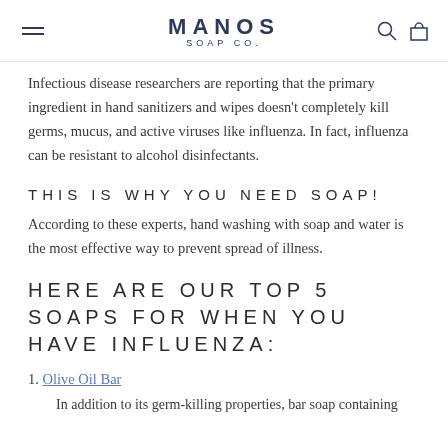MANOS SOAP CO.
Infectious disease researchers are reporting that the primary ingredient in hand sanitizers and wipes doesn't completely kill germs, mucus, and active viruses like influenza. In fact, influenza can be resistant to alcohol disinfectants.
THIS IS WHY YOU NEED SOAP!
According to these experts, hand washing with soap and water is the most effective way to prevent spread of illness.
HERE ARE OUR TOP 5 SOAPS FOR WHEN YOU HAVE INFLUENZA:
1. Olive Oil Bar
In addition to its germ-killing properties, bar soap containing